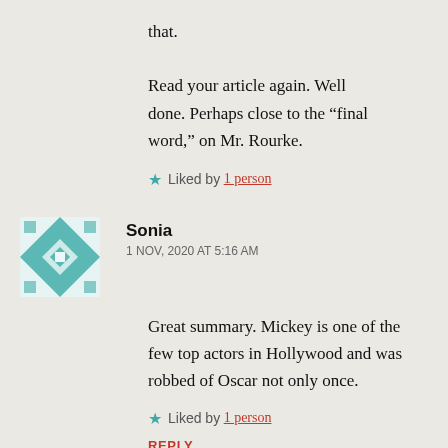that. Read your article again. Well done. Perhaps close to the “final word,” on Mr. Rourke.
★ Liked by 1 person
Sonia
1 NOV, 2020 AT 5:16 AM
Great summary. Mickey is one of the few top actors in Hollywood and was robbed of Oscar not only once.
★ Liked by 1 person
REPLY